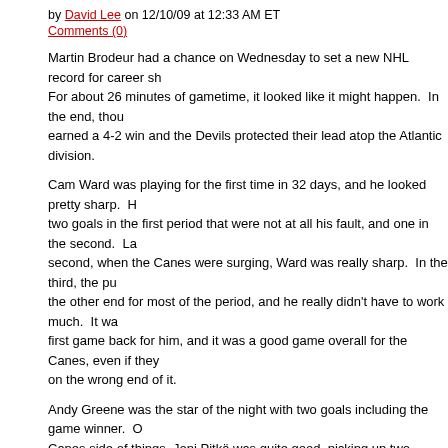by David Lee on 12/10/09 at 12:33 AM ET
Comments (0)
Martin Brodeur had a chance on Wednesday to set a new NHL record for career sh... For about 26 minutes of gametime, it looked like it might happen. In the end, thou... earned a 4-2 win and the Devils protected their lead atop the Atlantic division.
Cam Ward was playing for the first time in 32 days, and he looked pretty sharp. He... two goals in the first period that were not at all his fault, and one in the second. La... second, when the Canes were surging, Ward was really sharp. In the third, the pu... the other end for most of the period, and he really didn't have to work much. It wa... first game back for him, and it was a good game overall for the Canes, even if they... on the wrong end of it.
Andy Greene was the star of the night with two goals including the game winner. O... Canes side of things, Joni Pitkä was quite good, picking up two assists.
Continue Reading »
Filed in: | Red and Black Hockey | Permalink
Tags: andy+greene, cam+ward, carolina+hurricanes, joni+pitkanen, martin+brodeur, new+jersey+devils
Ward stands on his head, but the Canes lose an
by David Lee on 10/17/09 at 11:35 PM ET
Comments (0)